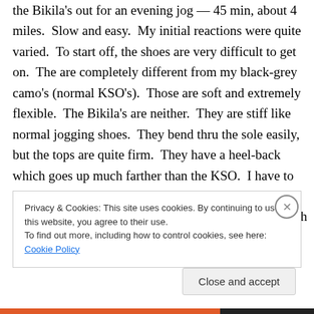the Bikila's out for an evening jog — 45 min, about 4 miles. Slow and easy. My initial reactions were quite varied. To start off, the shoes are very difficult to get on. The are completely different from my black-grey camo's (normal KSO's). Those are soft and extremely flexible. The Bikila's are neither. They are stiff like normal jogging shoes. They bend thru the sole easily, but the tops are quite firm. They have a heel-back which goes up much farther than the KSO. I have to really pull them to get them on. They are size M47, which is the largest they come. Once on, there is much
Privacy & Cookies: This site uses cookies. By continuing to use this website, you agree to their use.
To find out more, including how to control cookies, see here: Cookie Policy